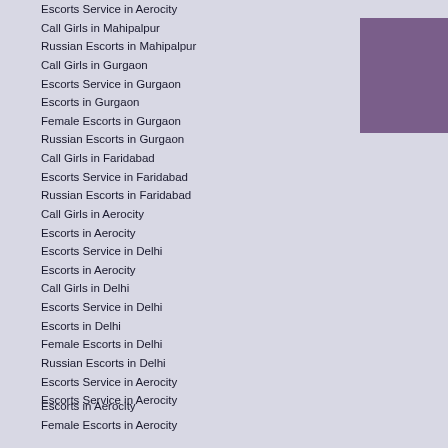Escorts Service in Aerocity
Call Girls in Mahipalpur
Russian Escorts in Mahipalpur
Call Girls in Gurgaon
Escorts Service in Gurgaon
Escorts in Gurgaon
Female Escorts in Gurgaon
Russian Escorts in Gurgaon
Call Girls in Faridabad
Escorts Service in Faridabad
Russian Escorts in Faridabad
Call Girls in Aerocity
Escorts in Aerocity
Escorts Service in Delhi
Escorts in Aerocity
Call Girls in Delhi
Escorts Service in Delhi
Escorts in Delhi
Female Escorts in Delhi
Russian Escorts in Delhi
Escorts Service in Aerocity
Escorts Service in Aerocity
[Figure (other): Purple/mauve colored rectangle in upper right area]
Escorts in Aerocity
Female Escorts in Aerocity